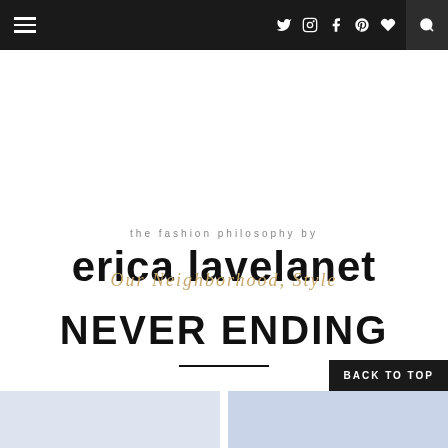Navigation bar with hamburger menu, social icons (Twitter, Instagram, Facebook, Pinterest, Bloglovin), and search
the fashion philosophy by erica lavelanet
Our Neighborhood, Style
NEVER ENDING
BACK TO TOP